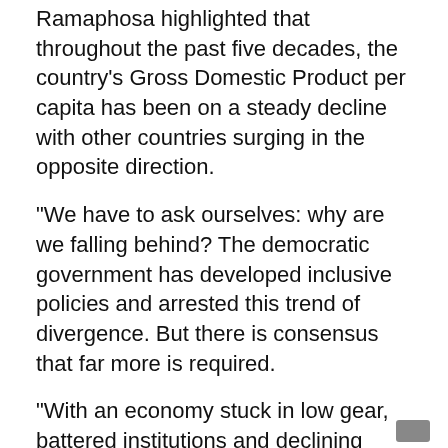Ramaphosa highlighted that throughout the past five decades, the country's Gross Domestic Product per capita has been on a steady decline with other countries surging in the opposite direction.
"We have to ask ourselves: why are we falling behind? The democratic government has developed inclusive policies and arrested this trend of divergence. But there is consensus that far more is required.
"With an economy stuck in low gear, battered institutions and declining productivity, an important strand of economic policy making over the past four years has been on fixing the fundamentals of the economy," he said.
A reformed and recovering economy
Despite all of the challenges facing the economy, Ramaphosa said government's reform agenda to create a more efficient government and business environment is fully underway.